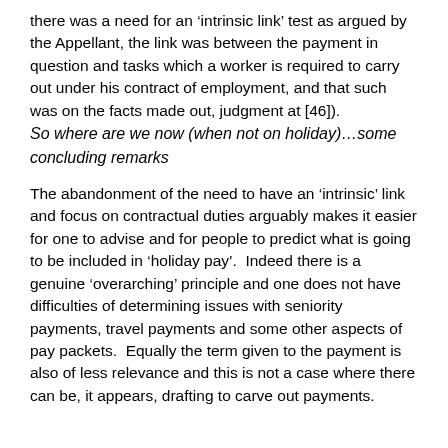there was a need for an 'intrinsic link' test as argued by the Appellant, the link was between the payment in question and tasks which a worker is required to carry out under his contract of employment, and that such was on the facts made out, judgment at [46]).
So where are we now (when not on holiday)…some concluding remarks
The abandonment of the need to have an 'intrinsic' link and focus on contractual duties arguably makes it easier for one to advise and for people to predict what is going to be included in 'holiday pay'.  Indeed there is a genuine 'overarching' principle and one does not have difficulties of determining issues with seniority payments, travel payments and some other aspects of pay packets.  Equally the term given to the payment is also of less relevance and this is not a case where there can be, it appears, drafting to carve out payments.